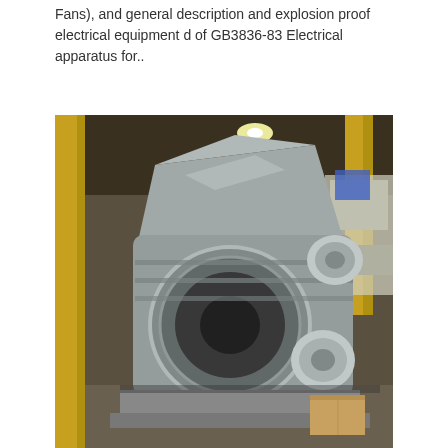Fans), and general description and explosion proof electrical equipment d of GB3836-83 Electrical apparatus for..
[Figure (photo): Industrial centrifugal fan or blower unit, large grey metal machine with circular inlet, housed in a warehouse/factory setting with yellow structural beams visible in the background. A motor is visible on the right side of the unit.]